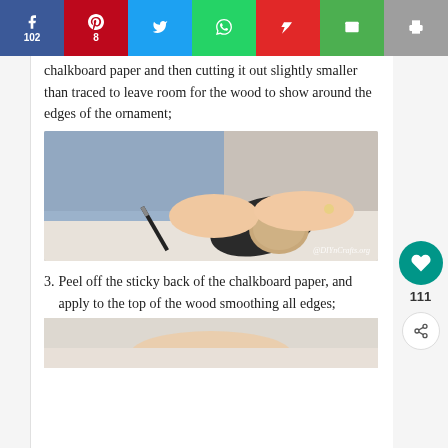[Figure (other): Social share bar with Facebook (102), Pinterest (8), Twitter, WhatsApp, Flipboard, Email, and Print buttons]
chalkboard paper and then cutting it out slightly smaller than traced to leave room for the wood to show around the edges of the ornament;
[Figure (photo): Photo of hands tracing a wooden ornament shape onto dark chalkboard paper with a pen, watermarked @DIYnCrafts.org]
3. Peel off the sticky back of the chalkboard paper, and apply to the top of the wood smoothing all edges;
[Figure (photo): Partial photo showing hands working with the ornament project]
[Figure (other): Right sidebar with heart/like button showing 111 likes, share icon, and 'What's Next' promo showing '30 Genius Ways to Reu...']